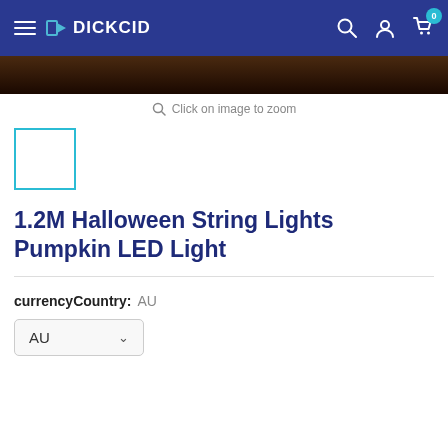DICKCID
[Figure (photo): Product image strip - dark background product photo]
Click on image to zoom
[Figure (photo): Thumbnail image placeholder with teal border]
1.2M Halloween String Lights Pumpkin LED Light
currencyCountry: AU
AU (dropdown)